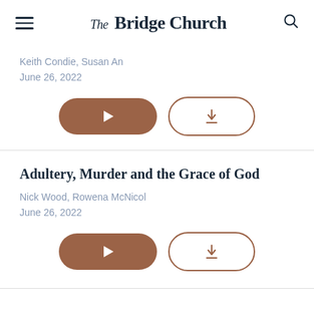The Bridge Church
Keith Condie, Susan An
June 26, 2022
[Figure (other): Play button (filled brown pill shape) and Download button (outline pill shape with download arrow icon)]
Adultery, Murder and the Grace of God
Nick Wood, Rowena McNicol
June 26, 2022
[Figure (other): Play button (filled brown pill shape) and Download button (outline pill shape with download arrow icon)]